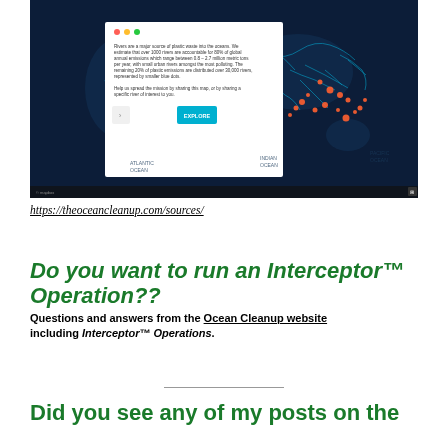[Figure (screenshot): Screenshot of The Ocean Cleanup interactive world map showing rivers as sources of plastic waste into the oceans. A popup dialog on the left reads about rivers being a major source of plastic waste, with an EXPLORE button. The map shows highlighted river paths in blue and orange/red dots near coastlines, particularly in Asia.]
https://theoceancleanup.com/sources/
Do you want to run an Interceptor™ Operation??
Questions and answers from the Ocean Cleanup website including Interceptor™ Operations.
Did you see any of my posts on the